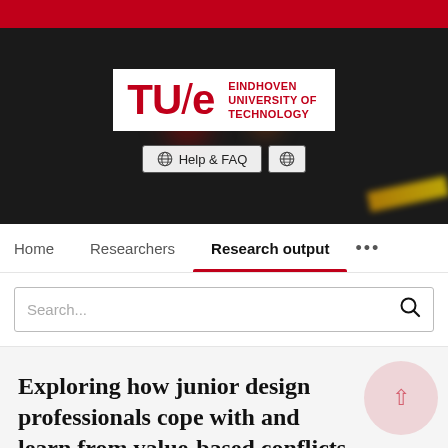[Figure (screenshot): Red top bar decorative element]
[Figure (logo): TU/e Eindhoven University of Technology logo on dark hero background with Help & FAQ and globe button]
Home   Researchers   Research output   ...
Search...
Exploring how junior design professionals cope with and learn from value-based conflicts